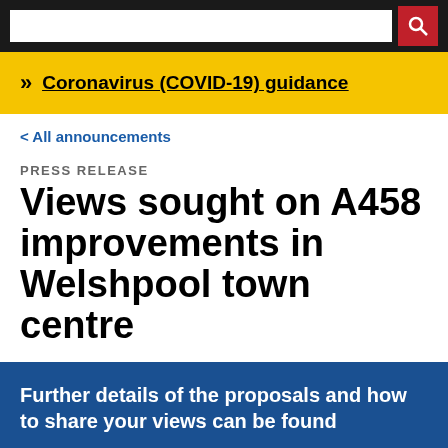Coronavirus (COVID-19) guidance
< All announcements
PRESS RELEASE
Views sought on A458 improvements in Welshpool town centre
Further details of the proposals and how to share your views can be found